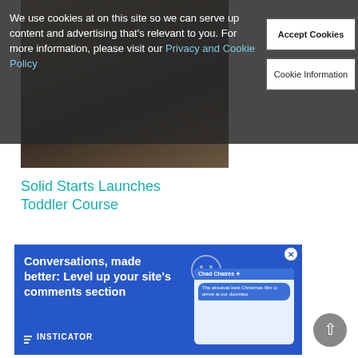We use cookies at on this site so we can serve up content and advertising that's relevant to you. For more information, please visit our Privacy and Cookie Policy
Accept Cookies
Cookie Information
[Figure (photo): A child/toddler standing at a kitchen counter, seen from behind, possibly near a microwave or kitchen appliances.]
Solid Starts Launches Toddler Course
[Figure (screenshot): Advertisement banner with blue background. Text reads: Conversations, made better: Level up your site's comments section. INSTICATOR logo at bottom left. Chat mockup screenshot on right side.]